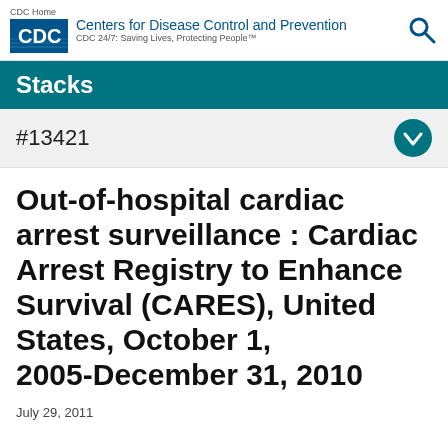CDC Home — Centers for Disease Control and Prevention — CDC 24/7: Saving Lives, Protecting People™
Stacks
#13421
Out-of-hospital cardiac arrest surveillance : Cardiac Arrest Registry to Enhance Survival (CARES), United States, October 1, 2005 - December 31, 2010
July 29, 2011